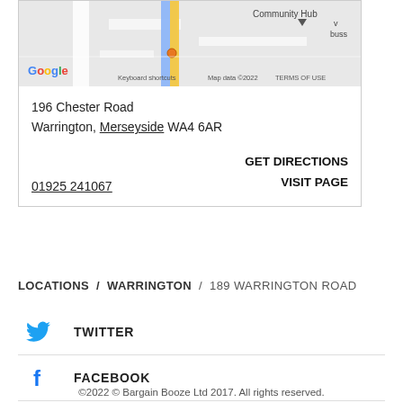[Figure (map): Google Maps screenshot showing a location in Warrington. Shows street map with a yellow road, blue road, and Google logo. Keyboard shortcuts, Map data ©2022, TERMS OF USE labels visible at bottom.]
196 Chester Road
Warrington, Merseyside WA4 6AR
GET DIRECTIONS
VISIT PAGE
01925 241067
LOCATIONS / WARRINGTON / 189 WARRINGTON ROAD
TWITTER
FACEBOOK
©2022 © Bargain Booze Ltd 2017. All rights reserved.